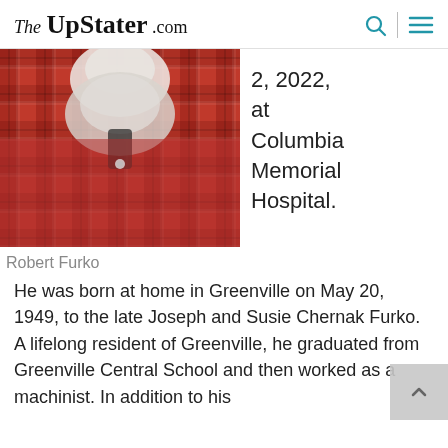The UpStater .com
[Figure (photo): Close-up photo of Robert Furko wearing a red plaid flannel shirt, white beard, viewed from below the face/chin area]
Robert Furko
2, 2022, at Columbia Memorial Hospital.
He was born at home in Greenville on May 20, 1949, to the late Joseph and Susie Chernak Furko. A lifelong resident of Greenville, he graduated from Greenville Central School and then worked as a machinist. In addition to his